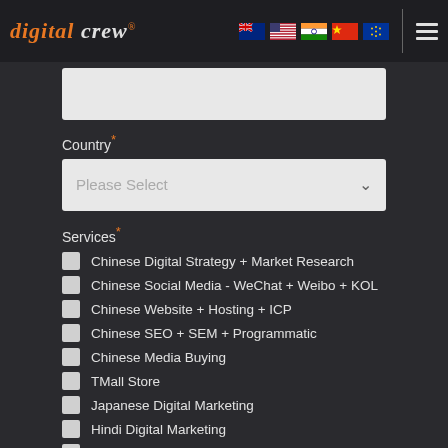digital crew. [flags: AU, US, IN, CN, EU] [hamburger menu]
[Text input field]
Country *
Please Select
Services *
Chinese Digital Strategy + Market Research
Chinese Social Media - WeChat + Weibo + KOL
Chinese Website + Hosting + ICP
Chinese SEO + SEM + Programmatic
Chinese Media Buying
TMall Store
Japanese Digital Marketing
Hindi Digital Marketing
English Digital Marketing